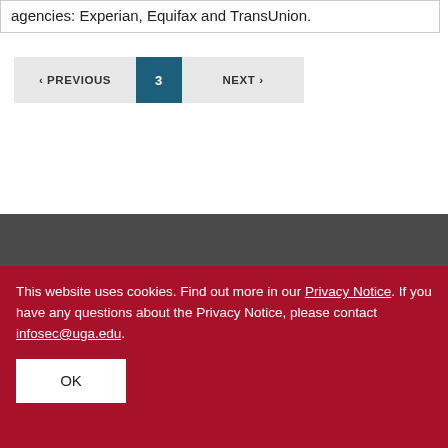agencies: Experian, Equifax and TransUnion.
< PREVIOUS   3   NEXT >
This website uses cookies. Find out more in our Privacy Notice. If you have any questions about the Privacy Notice, please contact infosec@uga.edu.  OK